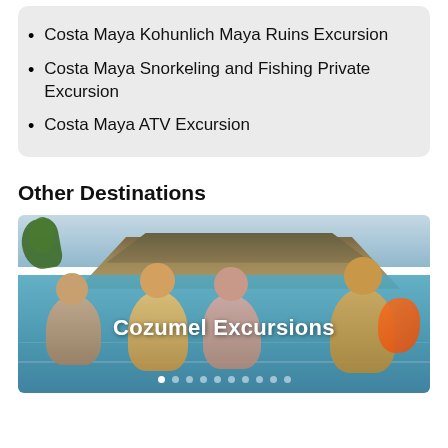Costa Maya Kohunlich Maya Ruins Excursion
Costa Maya Snorkeling and Fishing Private Excursion
Costa Maya ATV Excursion
Other Destinations
[Figure (photo): Photo of people in a swimming pool near a thatched-roof hut, with text overlay 'Cozumel Excursions' and navigation dots at the bottom]